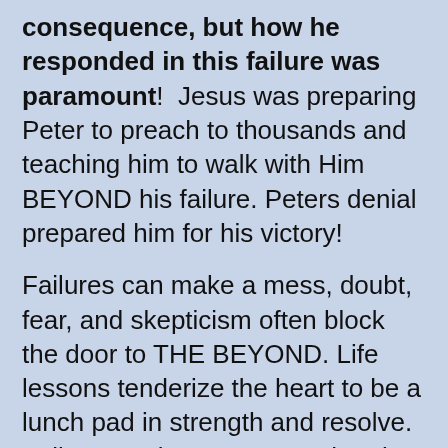consequence, but how he responded in this failure was paramount!  Jesus was preparing Peter to preach to thousands and teaching him to walk with Him BEYOND his failure. Peters denial prepared him for his victory!
Failures can make a mess, doubt, fear, and skepticism often block the door to THE BEYOND. Life lessons tenderize the heart to be a lunch pad in strength and resolve. Failure can be a great teacher, but it is not meant to be a whipping post for others or ourselves. Isolate it, forsake it, and move past it.  Learning how to respond and celebrate the wins, can build such momentum. Learning the lesson in humility and stay little in your own eyes –